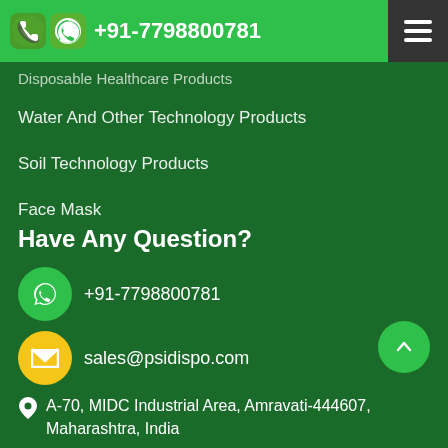+91-7798800781
Disposable Healthcare Products
Water And Other Technology Products
Soil Technology Products
Face Mask
Bio-degradable Compostable Gloves
Have Any Question?
+91-7798800781
sales@psidispo.com
A-70, MIDC Industrial Area, Amravati-444607, Maharashtra, India